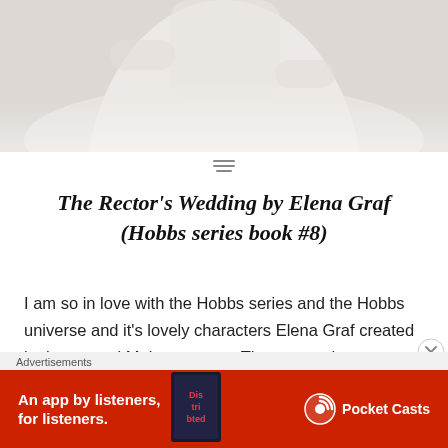[Figure (photo): Cropped photo of a woman in a white wedding dress, upper body and flowing skirt visible against a light background]
The Rector's Wedding by Elena Graf (Hobbs series book #8)
I am so in love with the Hobbs series and the Hobbs universe and it's lovely characters Elena Graf created in the coastal Maine scenery. These amazing characters like Lin, Lucy, Maggie, Sam, Brenda, Cherie, Olivia, Courtney...
Advertisements
[Figure (other): Pocket Casts advertisement banner: red background, text 'An app by listeners, for listeners.' with Pocket Casts logo and a book image]